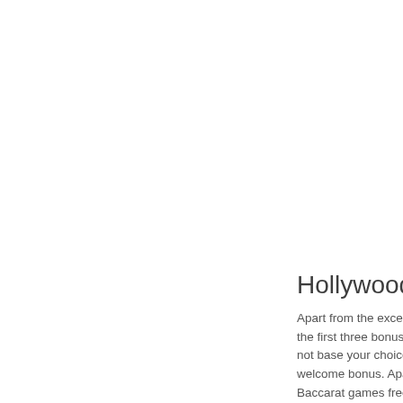Hollywood c
Apart from the excell the first three bonuse not base your choice welcome bonus. Apa Baccarat games free four-table to play with